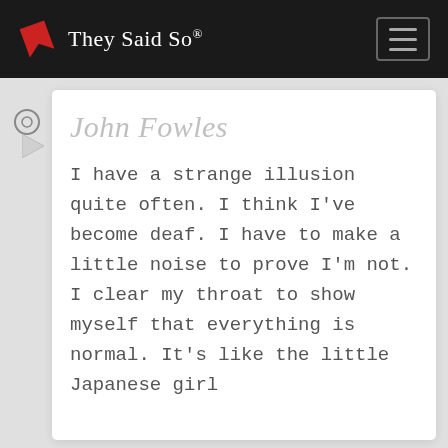They Said So®
John Fowles
I have a strange illusion quite often. I think I've become deaf. I have to make a little noise to prove I'm not. I clear my throat to show myself that everything is normal. It's like the little Japanese girl